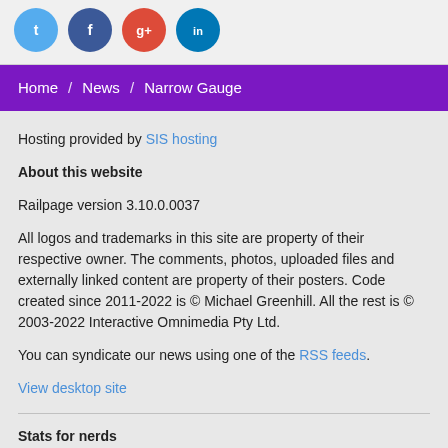[Figure (infographic): Social media icon buttons: Twitter (blue), Facebook (dark blue), Google+ (red), LinkedIn (blue), all circular]
Home / News / Narrow Gauge
Hosting provided by SIS hosting
About this website
Railpage version 3.10.0.0037
All logos and trademarks in this site are property of their respective owner. The comments, photos, uploaded files and externally linked content are property of their posters. Code created since 2011-2022 is © Michael Greenhill. All the rest is © 2003-2022 Interactive Omnimedia Pty Ltd.
You can syndicate our news using one of the RSS feeds.
View desktop site
Stats for nerds
Gen time: 2.6013s | RAM: 6.4kb